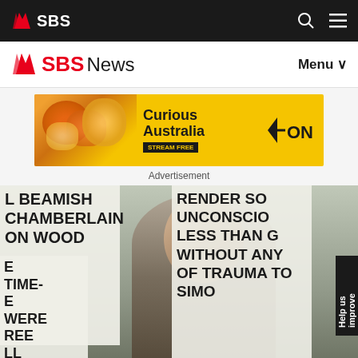SBS
SBS News | Menu
[Figure (infographic): Curious Australia advertisement banner with yellow background, SBS ON logo, and STREAM FREE text]
Advertisement
[Figure (photo): A woman reporter standing in front of protesters holding signs reading BEAMISH CHAMBERLAIN ON WOOD, RENDER SO UNCONSCIO LESS THAN WITHOUT ANY OF TRAUMA TO, and TIME- WERE REE LL T THE. A Help us improve sidebar button is visible on the right.]